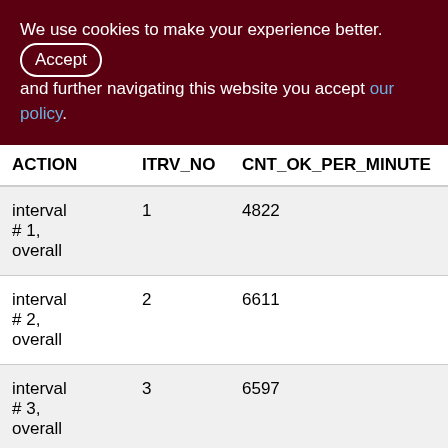We use cookies to make your experience better. By accepting and further navigating this website you accept our policy.
| ACTION | ITRV_NO | CNT_OK_PER_MINUTE | CNT_ALL… |
| --- | --- | --- | --- |
| interval # 1, overall | 1 | 4822 | 98486… |
| interval # 2, overall | 2 | 6611 | 134717… |
| interval # 3, overall | 3 | 6597 | 138206… |
| interval # 4, | 4 | 6396 | 135323… |